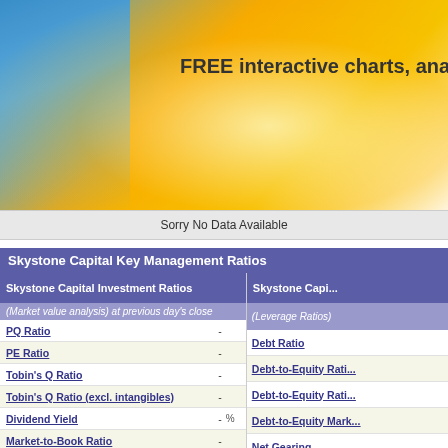[Figure (illustration): Website banner with blue and gold/yellow gradient background and text 'FREE interactive charts, analy']
Sorry No Data Available
Skystone Capital Key Management Ratios
| Skystone Capital Investment Ratios |  |  | Skystone Capi... |
| --- | --- | --- | --- |
| (Market value analysis) at previous day's close |  |  | (Leverage Ratios) |
| PQ Ratio | - |  | Debt Ratio |
| PE Ratio | - |  | Debt-to-Equity Rati... |
| Tobin's Q Ratio | - |  | Debt-to-Equity Rati... |
| Tobin's Q Ratio (excl. intangibles) | - |  | Debt-to-Equity Mark... |
| Dividend Yield | - | % | Net Gearing |
| Market-to-Book Ratio | - |  | Net Gearing (excl. I... |
| Price-to-Pre-Tax Profit PS | - |  | Gross Gearing |
| Price-to-Retained Profit PS | - |  | Gross Gearing (exc... |
| Price-to-Cash Flow PS | - |  | Gearing Under 1 Ye... |
| Price-to-Sales PS | - |  | Gearing Under 1 Ye... |
| Price-to-Net Tangible Asset Value PS | - |  | Assets/Equity |
| Price-to-Cash PS | - |  | Cash/Equity |
| Net Working Capital PS | - |  | (Liquidity Ratios) |
| Price Pct to Working Capital PS | - | % | Net Working Capita... |
| Earnings Yield | - | % | Current Ratio |
| Average PE | - |  | Quick Ratio (Acid T... |